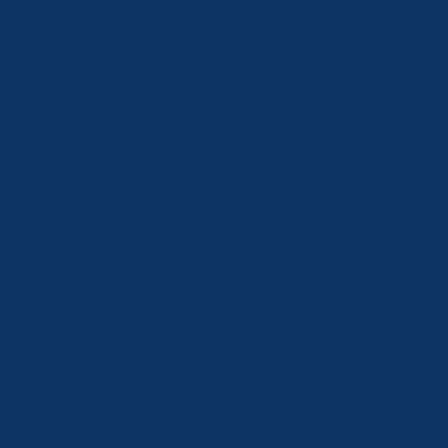OSO. Instead Mr Putin relied on fiat money – his ow